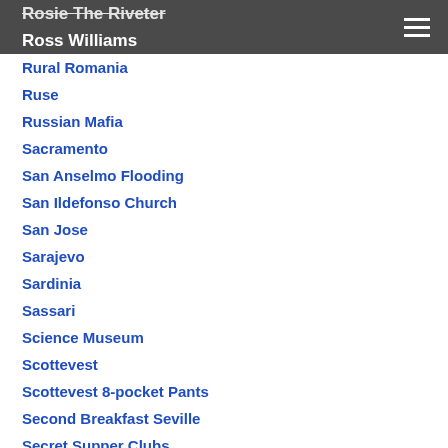Rosie The Riveter
Ross Williams
Rural Romania
Ruse
Russian Mafia
Sacramento
San Anselmo Flooding
San Ildefonso Church
San Jose
Sarajevo
Sardinia
Sassari
Science Museum
Scottevest
Scottevest 8-pocket Pants
Second Breakfast Seville
Secret Supper Clubs
Security On The Road